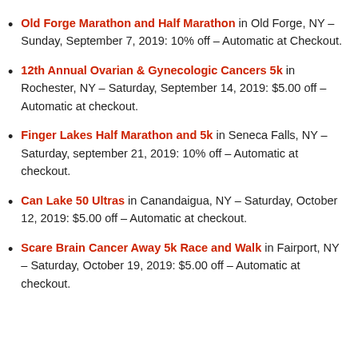Old Forge Marathon and Half Marathon in Old Forge, NY – Sunday, September 7, 2019: 10% off – Automatic at Checkout.
12th Annual Ovarian & Gynecologic Cancers 5k in Rochester, NY – Saturday, September 14, 2019: $5.00 off – Automatic at checkout.
Finger Lakes Half Marathon and 5k in Seneca Falls, NY – Saturday, september 21, 2019: 10% off – Automatic at checkout.
Can Lake 50 Ultras in Canandaigua, NY – Saturday, October 12, 2019: $5.00 off – Automatic at checkout.
Scare Brain Cancer Away 5k Race and Walk in Fairport, NY – Saturday, October 19, 2019: $5.00 off – Automatic at checkout.